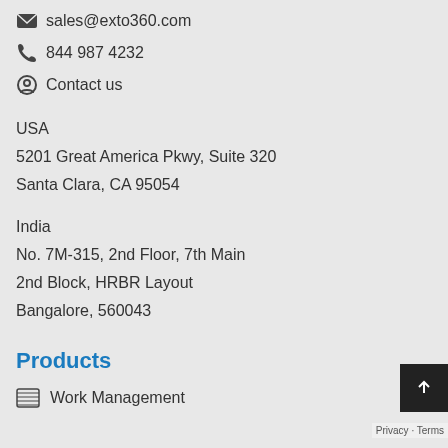sales@exto360.com
844 987 4232
Contact us
USA
5201 Great America Pkwy, Suite 320
Santa Clara, CA 95054
India
No. 7M-315, 2nd Floor, 7th Main
2nd Block, HRBR Layout
Bangalore, 560043
Products
Work Management